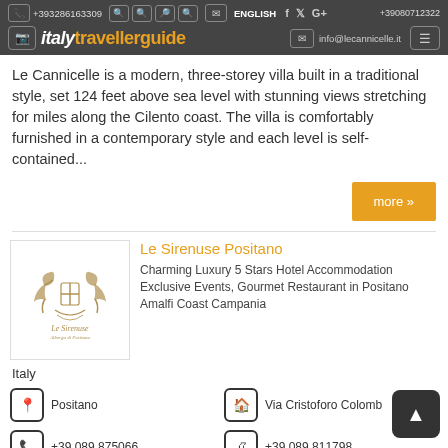italytravellerguide | +393286163309 | ENGLISH | info@lecannicelle.it
Le Cannicelle is a modern, three-storey villa built in a traditional style, set 124 feet above sea level with stunning views stretching for miles along the Cilento coast. The villa is comfortably furnished in a contemporary style and each level is self-contained...
more »
Le Sirenuse Positano
[Figure (logo): Le Sirenuse hotel logo with decorative crane/bird motifs]
Charming Luxury 5 Stars Hotel Accommodation Exclusive Events, Gourmet Restaurant in Positano Amalfi Coast Campania Italy
Positano
Via Cristoforo Colomb
+39 089 875066
+39 089 811798